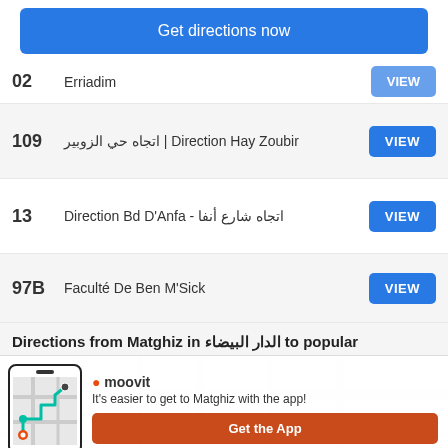[Figure (screenshot): Blue 'Get directions now' button]
02 | Erriadim - VIEW
109 | Direction Hay Zoubir | اتجاه حي الزوبير - VIEW
13 | Direction Bd D'Anfa - اتجاه شارع أنفا - VIEW
97B | Faculté De Ben M'Sick - VIEW
Directions from Matghiz in الدار البيضاء to popular
[Figure (screenshot): Moovit app banner with phone graphic, text 'It's easier to get to Matghiz with the app!' and orange 'Get the App' button]